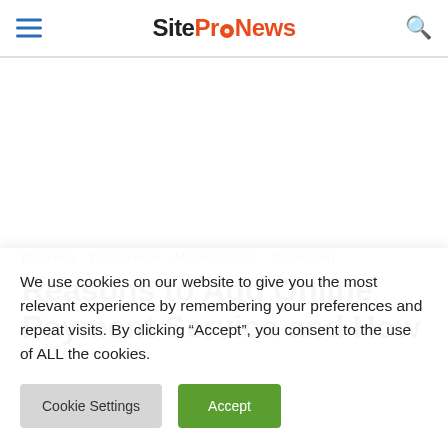SiteProNews
Business · Ecommerce · Miscellaneous · Sponsored
Reasons to Add Online Payment Service and How It
We use cookies on our website to give you the most relevant experience by remembering your preferences and repeat visits. By clicking “Accept”, you consent to the use of ALL the cookies.